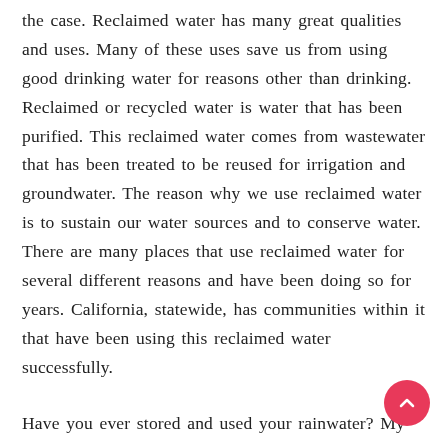the case. Reclaimed water has many great qualities and uses. Many of these uses save us from using good drinking water for reasons other than drinking. Reclaimed or recycled water is water that has been purified. This reclaimed water comes from wastewater that has been treated to be reused for irrigation and groundwater. The reason why we use reclaimed water is to sustain our water sources and to conserve water. There are many places that use reclaimed water for several different reasons and have been doing so for years. California, statewide, has communities within it that have been using this reclaimed water successfully.

Have you ever stored and used your rainwater? My